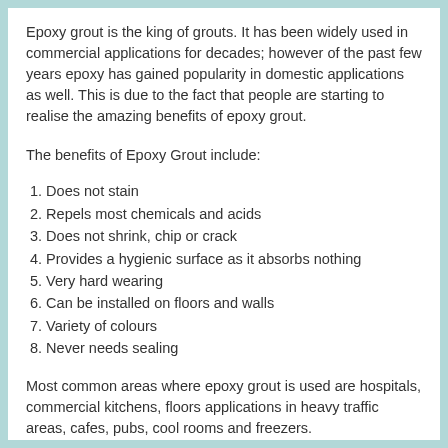Epoxy grout is the king of grouts. It has been widely used in commercial applications for decades; however of the past few years epoxy has gained popularity in domestic applications as well. This is due to the fact that people are starting to realise the amazing benefits of epoxy grout.
The benefits of Epoxy Grout include:
1. Does not stain
2. Repels most chemicals and acids
3. Does not shrink, chip or crack
4. Provides a hygienic surface as it absorbs nothing
5. Very hard wearing
6. Can be installed on floors and walls
7. Variety of colours
8. Never needs sealing
Most common areas where epoxy grout is used are hospitals, commercial kitchens, floors applications in heavy traffic areas, cafes, pubs, cool rooms and freezers.